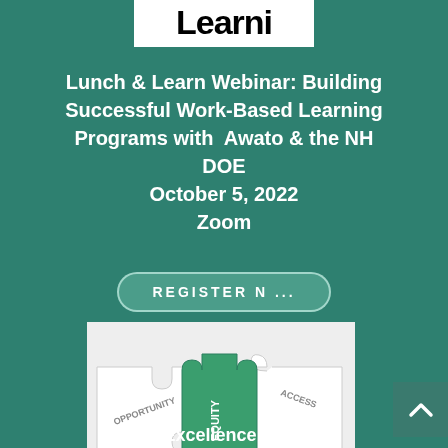[Figure (logo): White box with partial text 'Learni' in large bold black font — cropped logo]
Lunch & Learn Webinar: Building Successful Work-Based Learning Programs with Awato & the NH DOE
October 5, 2022
Zoom
REGISTER N...
[Figure (illustration): Puzzle pieces illustration: white pieces labeled OPPORTUNITY and ACCESS, green center piece labeled EQUITY]
2022 Excellence through